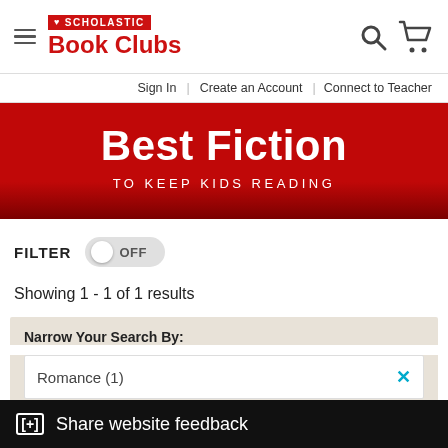[Figure (logo): Scholastic Book Clubs logo with hamburger menu, search and cart icons]
Sign In | Create an Account | Connect to Teacher
Best Fiction
TO KEEP KIDS READING
FILTER OFF
Showing 1 - 1 of 1 results
Narrow Your Search By:
Romance (1)
[+] Share website feedback